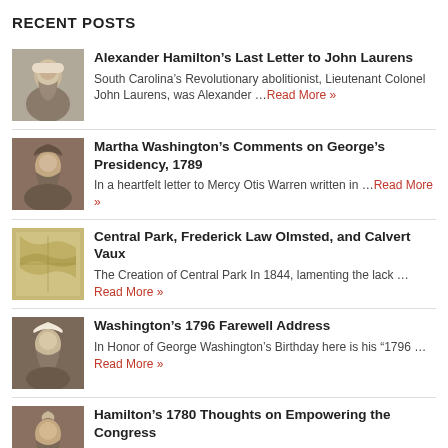RECENT POSTS
Alexander Hamilton’s Last Letter to John Laurens — South Carolina’s Revolutionary abolitionist, Lieutenant Colonel John Laurens, was Alexander …Read More »
Martha Washington’s Comments on George’s Presidency, 1789 — In a heartfelt letter to Mercy Otis Warren written in …Read More »
Central Park, Frederick Law Olmsted, and Calvert Vaux — The Creation of Central Park In 1844, lamenting the lack …Read More »
Washington’s 1796 Farewell Address — In Honor of George Washington’s Birthday here is his “1796 …Read More »
Hamilton’s 1780 Thoughts on Empowering the Congress — Alexander Hamilton, in a September 1780 letter to Founder James … Read More »
ARCHIVES